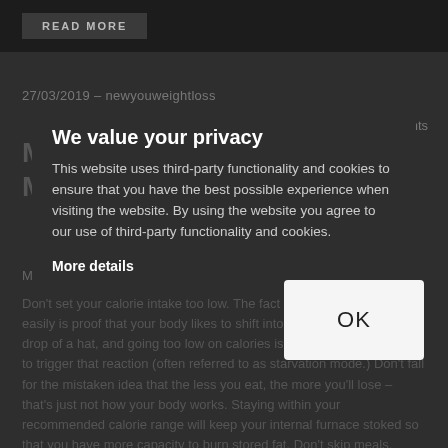[Figure (screenshot): Top portion of a dark-themed website with a 'Read More' button visible on a dark image banner]
27/03/2019 – newyouweightloss
0 Comments
Minimizing your Metabolism (I...
Metabolism DON'TS
We value your privacy
This website uses third-party functionality and cookies to ensure that you have the best possible experience when visiting the website. By using the website you agree to our use of third-party functionality and cookies.
More details
Don't set your calorie intake too low. The fact that you gain weight easily is proof that your body likes to shift into fat-storage mode at the drop of a hat, and going too low on calories is one of the easiest ways to trigger that reaction (often referred to as starvation mode.) Don't fall for the mistaken idea that the less you eat, the more you'll lose – that's just not how your body works. Staying within your recommended calorie range will keep your internal furnace stoked so that you have more capacity to burn stored fat. Don't skip meals. Going too long between meals affects your
OK